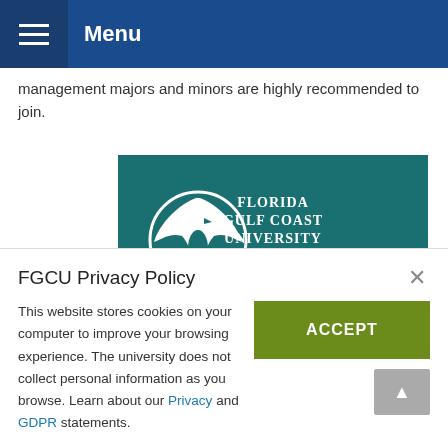Menu
management majors and minors are highly recommended to join.
[Figure (logo): Florida Gulf Coast University logo banner with teal background showing FGCU eagle logo, text 'FLORIDA GULF COAST UNIVERSITY' and 'OUR MIS & ANALYTICS MASTER'S']
FGCU Privacy Policy
This website stores cookies on your computer to improve your browsing experience. The university does not collect personal information as you browse. Learn about our Privacy and GDPR statements.